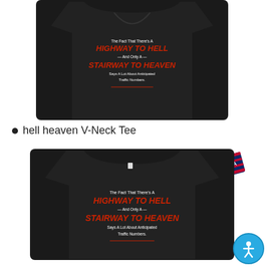[Figure (photo): Black v-neck t-shirt with text graphic: 'The Fact That There's A HIGHWAY TO HELL And Only A STAIRWAY TO HEAVEN Says A Lot About Anticipated Traffic Numbers.']
hell heaven V-Neck Tee
[Figure (photo): Black crew-neck t-shirt with same text graphic, shown with a USA flag badge/patch overlapping in upper right corner, and accessibility icon in bottom right.]